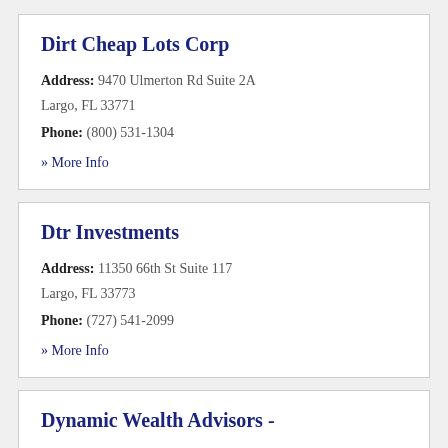Dirt Cheap Lots Corp
Address: 9470 Ulmerton Rd Suite 2A
Largo, FL 33771
Phone: (800) 531-1304
» More Info
Dtr Investments
Address: 11350 66th St Suite 117
Largo, FL 33773
Phone: (727) 541-2099
» More Info
Dynamic Wealth Advisors -